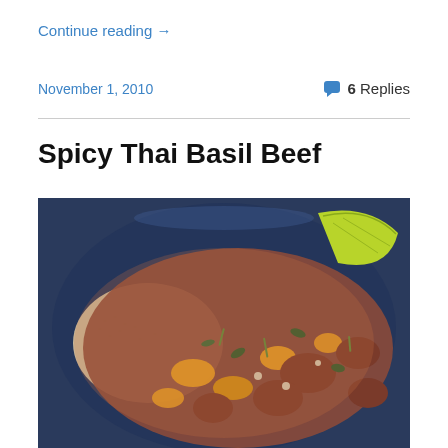Continue reading →
November 1, 2010
6 Replies
Spicy Thai Basil Beef
[Figure (photo): A blue bowl containing Spicy Thai Basil Beef with rice, yellow bell peppers, dark leafy greens, and garnished with a lime wedge on top.]